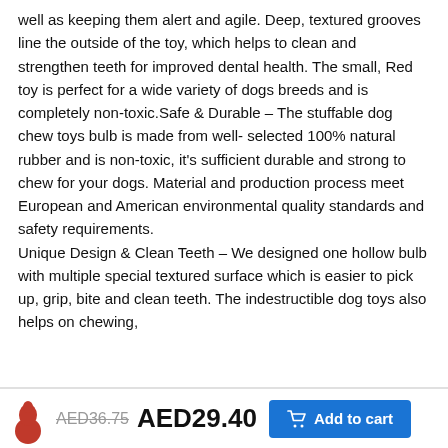well as keeping them alert and agile. Deep, textured grooves line the outside of the toy, which helps to clean and strengthen teeth for improved dental health. The small, Red toy is perfect for a wide variety of dogs breeds and is completely non-toxic.Safe & Durable – The stuffable dog chew toys bulb is made from well- selected 100% natural rubber and is non-toxic, it's sufficient durable and strong to chew for your dogs. Material and production process meet European and American environmental quality standards and safety requirements.
Unique Design & Clean Teeth – We designed one hollow bulb with multiple special textured surface which is easier to pick up, grip, bite and clean teeth. The indestructible dog toys also helps on chewing,
AED36.75  AED29.40  Add to cart